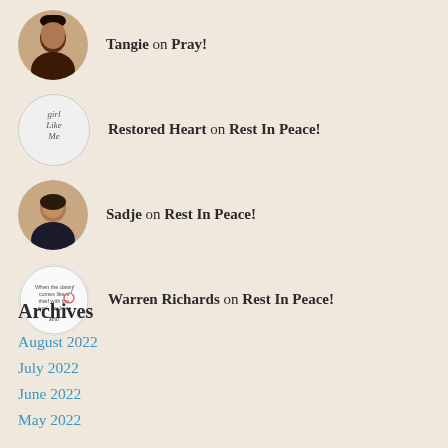Tangie on Pray!
Restored Heart on Rest In Peace!
Sadje on Rest In Peace!
Warren Richards on Rest In Peace!
Archives
August 2022
July 2022
June 2022
May 2022